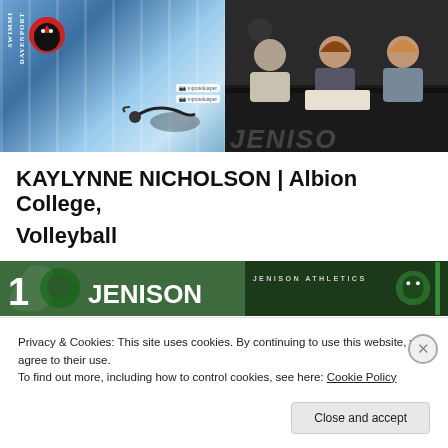[Figure (photo): Left: Davenport University swimming promotional image with pool lanes and swimmer. Right: Three people seated at a signing table with Jenison branding on the wall behind them.]
KAYLYNNE NICHOLSON | Albion College, Volleyball
[Figure (photo): Left: Jenison banner with number 1 and Jenison text in green. Right: Jenison Athletics logo banner with panther mascot.]
Privacy & Cookies: This site uses cookies. By continuing to use this website, you agree to their use.
To find out more, including how to control cookies, see here: Cookie Policy
Close and accept